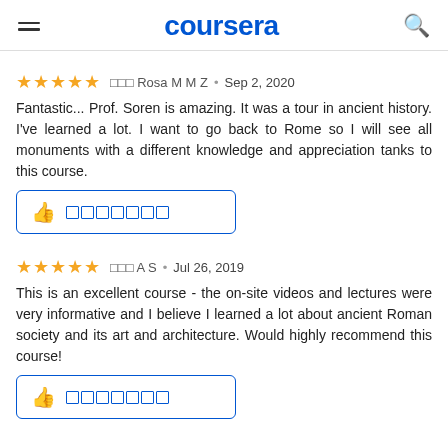coursera
★★★★★ ▯▯▯ Rosa M M Z • Sep 2, 2020
Fantastic... Prof. Soren is amazing. It was a tour in ancient history. I've learned a lot. I want to go back to Rome so I will see all monuments with a different knowledge and appreciation tanks to this course.
[Figure (other): Helpful button with thumbs up icon and placeholder squares]
★★★★★ ▯▯▯ A S • Jul 26, 2019
This is an excellent course - the on-site videos and lectures were very informative and I believe I learned a lot about ancient Roman society and its art and architecture. Would highly recommend this course!
[Figure (other): Helpful button with thumbs up icon and placeholder squares]